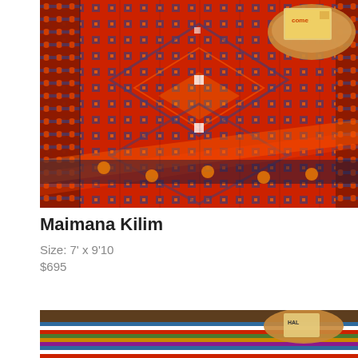[Figure (photo): Close-up photograph of a Maimana Kilim rug with intricate geometric patterns in red, orange, navy blue, and gold colors, with a wooden object visible in the upper right corner]
Maimana Kilim
Size: 7' x 9'10
$695
[Figure (photo): Partial view of another striped rug in multicolor tones with a wooden object visible, partially cropped at bottom of page]